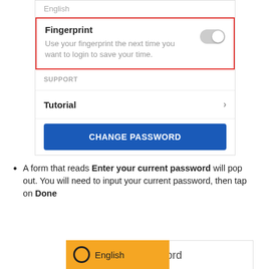[Figure (screenshot): Mobile app settings screenshot showing language set to English, a red-bordered Fingerprint section with toggle (off), SUPPORT section header, Tutorial row with chevron, and blue CHANGE PASSWORD button]
A form that reads Enter your current password will pop out. You will need to input your current password, then tap on Done
[Figure (screenshot): Partial screenshot showing bottom of a form with yellow English badge and 'your current password' text]